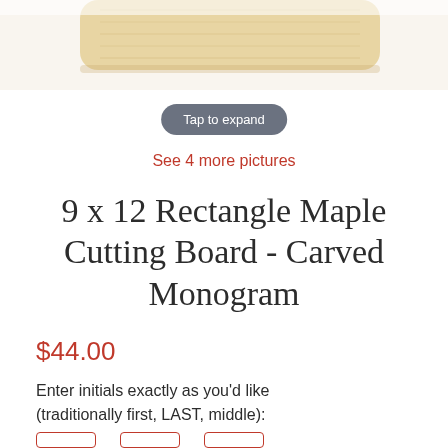[Figure (photo): Partial view of a rectangular maple cutting board, light wood grain, seen from above, cropped at the top of the page.]
Tap to expand
See 4 more pictures
9 x 12 Rectangle Maple Cutting Board - Carved Monogram
$44.00
Enter initials exactly as you'd like (traditionally first, LAST, middle):